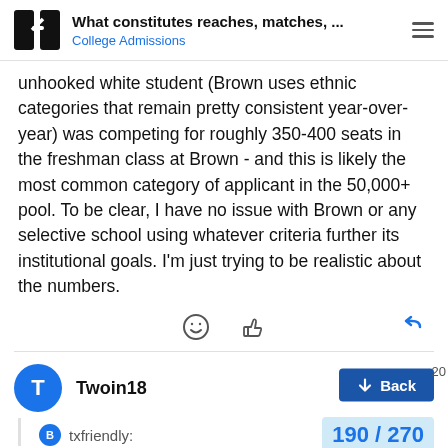What constitutes reaches, matches, ... | College Admissions
unhooked white student (Brown uses ethnic categories that remain pretty consistent year-over-year) was competing for roughly 350-400 seats in the freshman class at Brown - and this is likely the most common category of applicant in the 50,000+ pool. To be clear, I have no issue with Brown or any selective school using whatever criteria further its institutional goals. I'm just trying to be realistic about the numbers.
Twoin18
txfriendly:
190 / 270